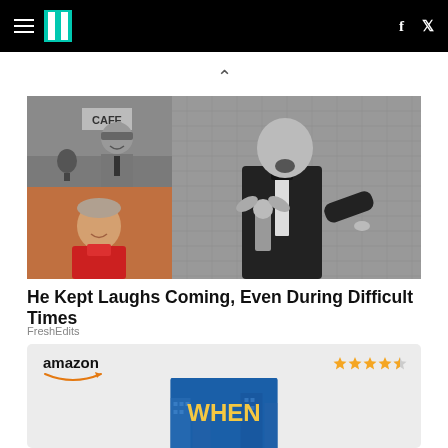HuffPost navigation bar with hamburger menu, logo, Facebook and Twitter icons
[Figure (photo): Collage of three black-and-white and color photos of a male entertainer: top-left shows him in a uniform cap near a CAFE sign with a microphone; bottom-left shows an older color photo of the same man in a red shirt; right shows him in a tuxedo holding an Emmy Award, mouth open in excitement]
He Kept Laughs Coming, Even During Difficult Times
FreshEdits
[Figure (other): Amazon product listing card showing amazon logo with smile, 4.5 star rating in gold, and a book cover with the title WHEN in yellow letters on a blue background]